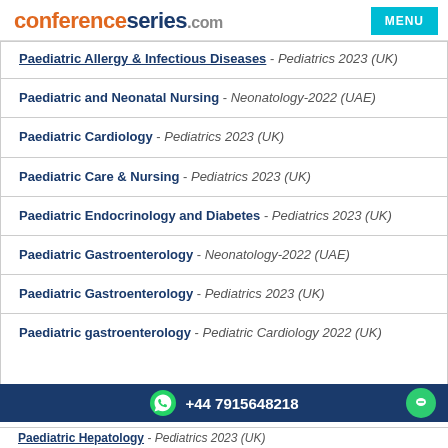conferenceseries.com | MENU
Paediatric Allergy & Infectious Diseases - Pediatrics 2023 (UK)
Paediatric and Neonatal Nursing - Neonatology-2022 (UAE)
Paediatric Cardiology - Pediatrics 2023 (UK)
Paediatric Care & Nursing - Pediatrics 2023 (UK)
Paediatric Endocrinology and Diabetes - Pediatrics 2023 (UK)
Paediatric Gastroenterology - Neonatology-2022 (UAE)
Paediatric Gastroenterology - Pediatrics 2023 (UK)
Paediatric gastroenterology - Pediatric Cardiology 2022 (UK)
+44 7915648218
Paediatric Hepatology - Pediatrics 2023 (UK)